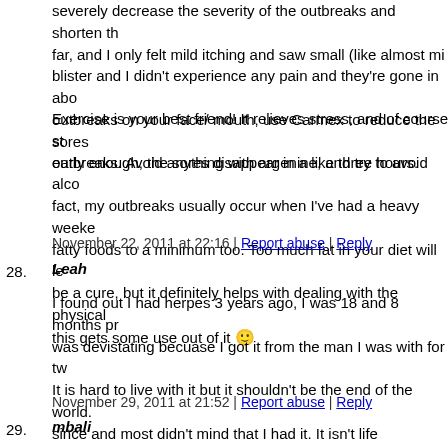severely decrease the severity of the outbreaks and shorten the duration. So far, and I only felt mild itching and saw small (like almost minuscule) blister and I didn't experience any pain and they're gone in about 4 days. For outbreaks on your face/ mouth, use Carmex to reduce the sores, if you get it early enough, the sores disappear in a like three hours.
Exercise is your best friend! It relieves stress, and of course stress triggers outbreaks. Avoid anything with argenine, and try to avoid alcohol too. In fact, my outbreaks usually occur when I've had a heavy weekend. Keep fatty foods to a minimum too. Too much fat in your diet will lessen... There's no be a cure, but it definitely helps with dealing with the physical symptoms. Hope this gets some use out of it 🙂
November 22, 2011 at 22:16 | Report abuse | Reply
28. Leah
I found out I had herpes 3 years ago, I was 18 and 8 months pregnant. It was devistating becuase I got it from the man I was with for two years. It is hard to live with it but it shouldn't be the end of the world. I've dated since and most didn't mind that I had it. It isn't life threatening, it can be controlled, and if you are careful there is a low chance of actual transmission. It would be nice if they could actually find a cure but if not I'm not going to let my life and hold me back.
November 29, 2011 at 21:52 | Report abuse | Reply
29. mbali